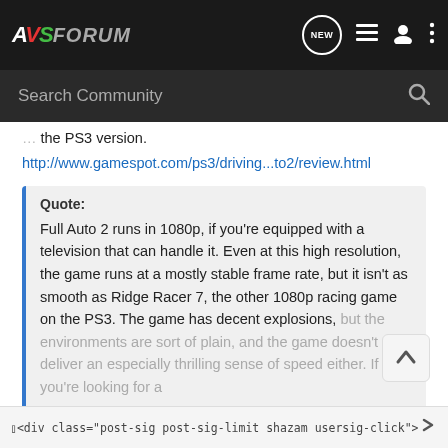AVS FORUM — navigation bar with logo and icons
Search Community
the PS3 version.
http://www.gamespot.com/ps3/driving...to2/review.html
Quote: Full Auto 2 runs in 1080p, if you're equipped with a television that can handle it. Even at this high resolution, the game runs at a mostly stable frame rate, but it isn't as smooth as Ridge Racer 7, the other 1080p racing game on the PS3. The game has decent explosions, but the environments are sort of plain, and the game doesn't deliver an especially thrilling sense of speed either. If you're looking for a
Click to expand...
↑ (back to top button)
<div class="post-sig post-sig-limit shazam usersig-click"><div